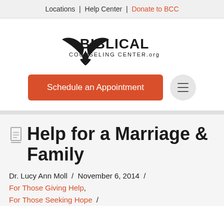Locations | Help Center | Donate to BCC
[Figure (logo): Biblical Counseling Center .org logo with open book / dove graphic]
[Figure (screenshot): Schedule an Appointment button (orange/red) and hamburger menu button (circular grey)]
Help for a Marriage & Family
Dr. Lucy Ann Moll / November 6, 2014 / For Those Giving Help, For Those Seeking Hope /